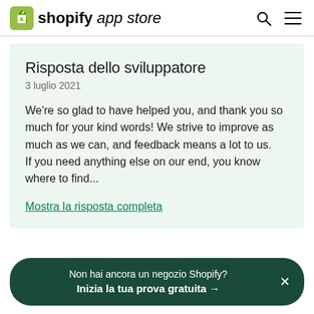shopify app store
Risposta dello sviluppatore
3 luglio 2021
We're so glad to have helped you, and thank you so much for your kind words! We strive to improve as much as we can, and feedback means a lot to us.
If you need anything else on our end, you know where to find...
Mostra la risposta completa
Non hai ancora un negozio Shopify?
Inizia la tua prova gratuita →